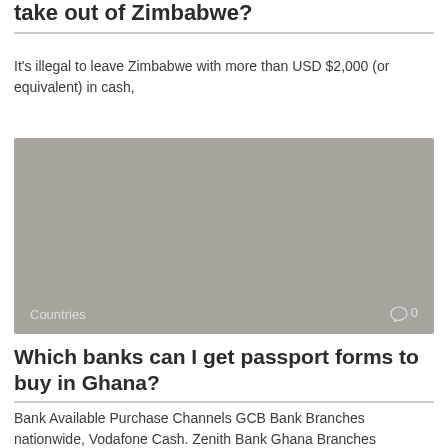take out of Zimbabwe?
It's illegal to leave Zimbabwe with more than USD $2,000 (or equivalent) in cash,
[Figure (photo): Grey placeholder image with 'Countries' label and comment icon showing 0 comments]
Which banks can I get passport forms to buy in Ghana?
Bank Available Purchase Channels GCB Bank Branches nationwide, Vodafone Cash. Zenith Bank Ghana Branches
[Figure (photo): Grey placeholder image at bottom of page]